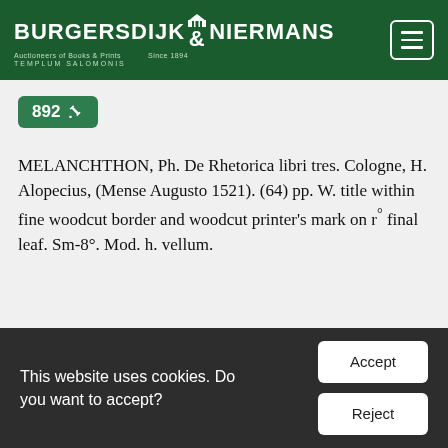BURGERSDIJK & NIERMANS — Auctioneers of Books & Prints — Since 1894 — TEMPLUM SALOMONIS
892 🔨
MELANCHTHON, Ph. De Rhetorica libri tres. Cologne, H. Alopecius, (Mense Augusto 1521). (64) pp. W. title within fine woodcut border and woodcut printer's mark on r° final leaf. Sm-8°. Mod. h. vellum.
This website uses cookies. Do you want to accept?